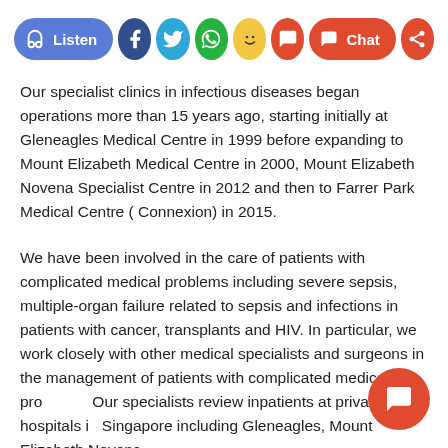[Figure (other): Social media toolbar with Listen button (blue), Facebook (dark blue circle), Twitter (light blue circle), WhatsApp (green circle), laughing emoji (yellow circle), comment (red circle), Chat button (red pill), and share (red circle) buttons]
Our specialist clinics in infectious diseases began operations more than 15 years ago, starting initially at Gleneagles Medical Centre in 1999 before expanding to Mount Elizabeth Medical Centre in 2000, Mount Elizabeth Novena Specialist Centre in 2012 and then to Farrer Park Medical Centre ( Connexion) in 2015.
We have been involved in the care of patients with complicated medical problems including severe sepsis, multiple-organ failure related to sepsis and infections in patients with cancer, transplants and HIV. In particular, we work closely with other medical specialists and surgeons in the management of patients with complicated medical problems. Our specialists review inpatients at private hospitals in Singapore including Gleneagles, Mount Elizabeth Novena, Mount Elizabeth, Mount Alvernia, Parkway East, Raffles
[Figure (other): Floating red chat button (FAB) in the bottom right corner]